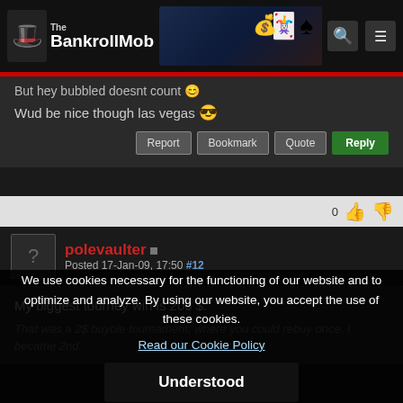The BankrollMob
But hey bubbled doesnt count 😊
Wud be nice though las vegas 😎
Report | Bookmark | Quote | Reply
polevaulter • Posted 17-Jan-09, 17:50 #12
My biggest tourney win is 200 $.
That was a 2$ buyble tournament, where you could rebuy once. I became 2nd.
We use cookies necessary for the functioning of our website and to optimize and analyze. By using our website, you accept the use of these cookies.
Read our Cookie Policy
Understood